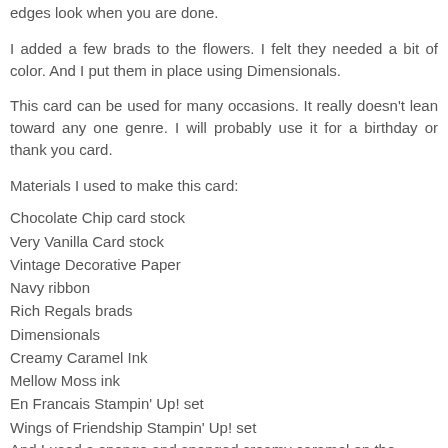edges look when you are done.
I added a few brads to the flowers. I felt they needed a bit of color. And I put them in place using Dimensionals.
This card can be used for many occasions. It really doesn't lean toward any one genre. I will probably use it for a birthday or thank you card.
Materials I used to make this card:
Chocolate Chip card stock
Very Vanilla Card stock
Vintage Decorative Paper
Navy ribbon
Rich Regals brads
Dimensionals
Creamy Caramel Ink
Mellow Moss ink
En Francais Stampin' Up! set
Wings of Friendship Stampin' Up! set
And I used a sponge and sponged creamy caramel on the